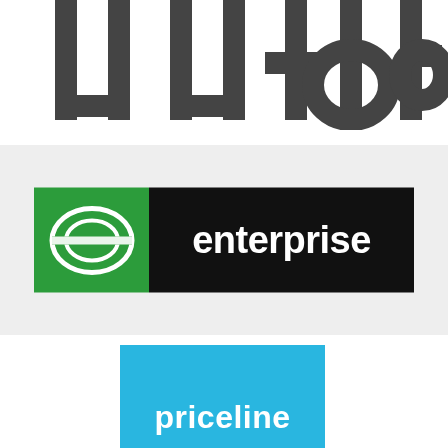[Figure (logo): Partial view of large dark gray letters on white background, cropped at edges — appears to be text like 'in the' or similar, only bottom portions visible]
[Figure (logo): Enterprise Rent-A-Car logo: green square on left with white stylized 'e' graphic, black rectangle on right with white lowercase 'enterprise' text]
[Figure (logo): Priceline logo: bright blue square with white lowercase 'priceline' text centered]